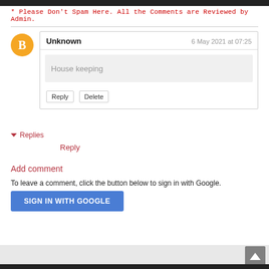* Please Don't Spam Here. All the Comments are Reviewed by Admin.
Unknown    6 May 2021 at 07:25
House keeping
Reply   Delete
▾ Replies
Reply
Add comment
To leave a comment, click the button below to sign in with Google.
SIGN IN WITH GOOGLE